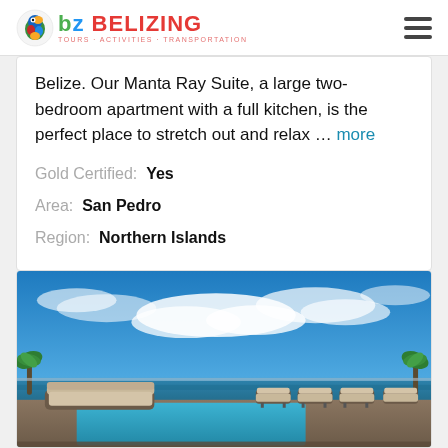BELIZING - TOURS · ACTIVITIES · TRANSPORTATION
Belize. Our Manta Ray Suite, a large two-bedroom apartment with a full kitchen, is the perfect place to stretch out and relax … more
Gold Certified: Yes
Area: San Pedro
Region: Northern Islands
[Figure (photo): Rooftop infinity pool with lounge chairs and outdoor sofa overlooking the ocean under a blue sky with clouds, surrounded by palm trees]